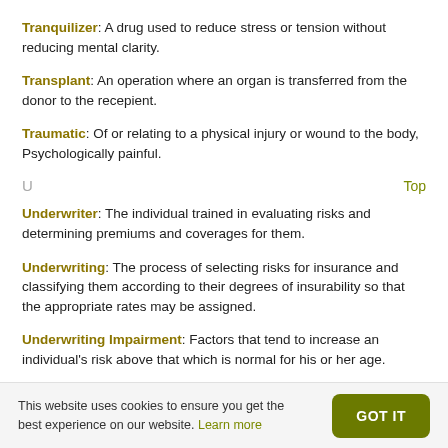Tranquilizer: A drug used to reduce stress or tension without reducing mental clarity.
Transplant: An operation where an organ is transferred from the donor to the recepient.
Traumatic: Of or relating to a physical injury or wound to the body, Psychologically painful.
U
Underwriter: The individual trained in evaluating risks and determining premiums and coverages for them.
Underwriting: The process of selecting risks for insurance and classifying them according to their degrees of insurability so that the appropriate rates may be assigned.
Underwriting Impairment: Factors that tend to increase an individual's risk above that which is normal for his or her age.
This website uses cookies to ensure you get the best experience on our website. Learn more